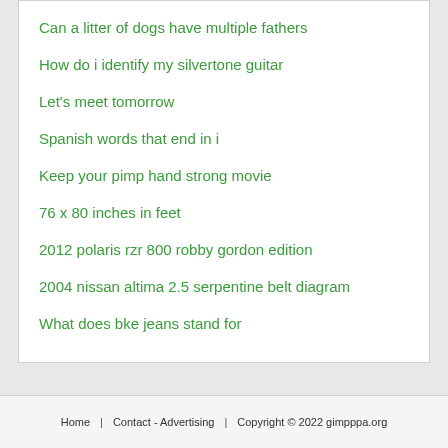Can a litter of dogs have multiple fathers
How do i identify my silvertone guitar
Let's meet tomorrow
Spanish words that end in i
Keep your pimp hand strong movie
76 x 80 inches in feet
2012 polaris rzr 800 robby gordon edition
2004 nissan altima 2.5 serpentine belt diagram
What does bke jeans stand for
Home   Contact - Advertising   Copyright © 2022 gimpppa.org